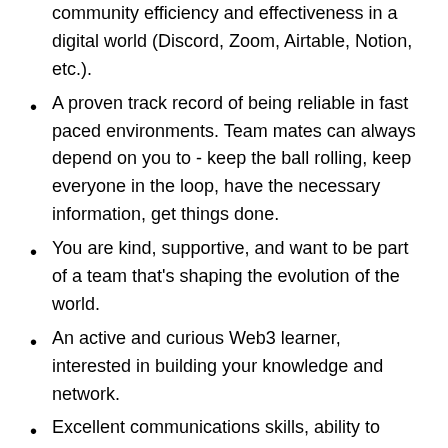community efficiency and effectiveness in a digital world (Discord, Zoom, Airtable, Notion, etc.).
A proven track record of being reliable in fast paced environments. Team mates can always depend on you to - keep the ball rolling, keep everyone in the loop, have the necessary information, get things done.
You are kind, supportive, and want to be part of a team that’s shaping the evolution of the world.
An active and curious Web3 learner, interested in building your knowledge and network.
Excellent communications skills, ability to